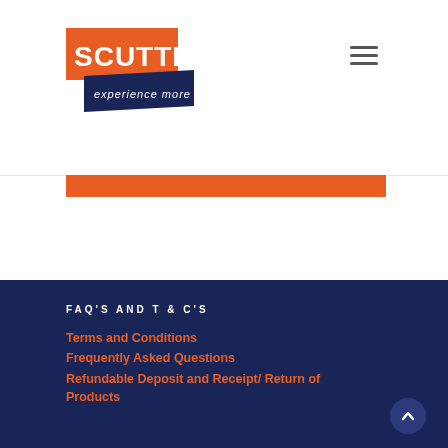Scuttle - experience more
FAQ'S AND T & C'S
Terms and Conditions
Frequently Asked Questions
Refundable Deposit and Receipt/ Return of Products